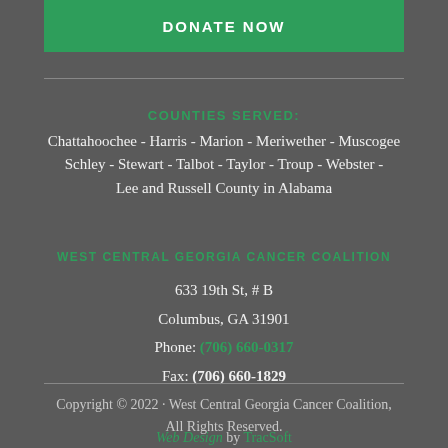DONATE NOW
COUNTIES SERVED:
Chattahoochee - Harris - Marion - Meriwether - Muscogee Schley - Stewart - Talbot - Taylor - Troup - Webster - Lee and Russell County in Alabama
WEST CENTRAL GEORGIA CANCER COALITION
633 19th St, # B
Columbus, GA 31901
Phone: (706) 660-0317
Fax: (706) 660-1829
Copyright © 2022 · West Central Georgia Cancer Coalition, All Rights Reserved.
Web Design by TracSoft